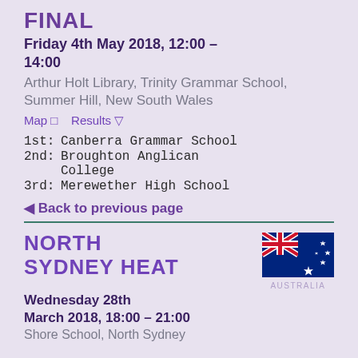FINAL
Friday 4th May 2018, 12:00 – 14:00
Arthur Holt Library, Trinity Grammar School, Summer Hill, New South Wales
Map   Results
1st: Canberra Grammar School
2nd: Broughton Anglican College
3rd: Merewether High School
◄ Back to previous page
NORTH SYDNEY HEAT
[Figure (illustration): Australian flag with Union Jack and Southern Cross stars, labeled AUSTRALIA]
Wednesday 28th March 2018, 18:00 – 21:00
Shore School, North Sydney